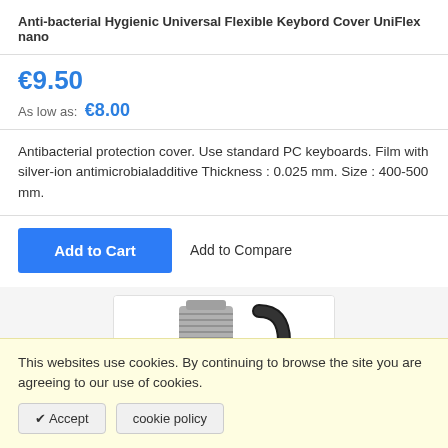Anti-bacterial Hygienic Universal Flexible Keybord Cover UniFlex nano
€9.50
As low as: €8.00
Antibacterial protection cover. Use standard PC keyboards. Film with silver-ion antimicrobialadditive Thickness : 0.025 mm. Size : 400-500 mm.
Add to Cart  Add to Compare
[Figure (photo): Product photo showing a silver threaded connector with a red band and a black cable connector]
This websites use cookies. By continuing to browse the site you are agreeing to our use of cookies.
✔ Accept  cookie policy